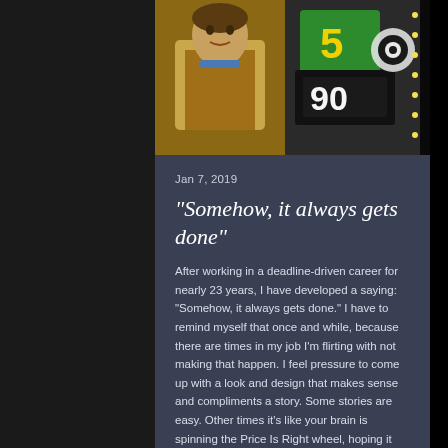[Figure (photo): Photo showing a person on what appears to be The Price Is Right TV game show set, with colorful game show elements including numbers '5', '90', and a CBS logo visible in the background.]
Jan 7, 2019
"Somehow, it always gets done"
After working in a deadline-driven career for nearly 23 years, I have developed a saying: "Somehow, it always gets done." I have to remind myself that once and while, because there are times in my job I'm flirting with not making that happen. I feel pressure to come up with a look and design that makes sense and compliments a story. Some stories are easy. Other times it's like your brain is spinning the Price Is Right wheel, hoping it stops on $1.00. And